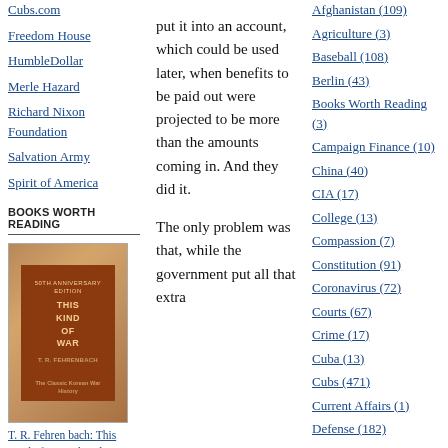Cubs.com
Freedom House
HumbleDollar
Merle Hazard
Richard Nixon Foundation
Salvation Army
Spirit of America
BOOKS WORTH READING
[Figure (photo): Book cover of 'This Kind of War: The Classic Korean War History' by T. R. Fehrenbach, 50th Anniversary Edition. Brown/sepia toned cover.]
T. R. Fehren­ bach: This Kind of War: The Classic Korean War History
put it into an account, which could be used later, when benefits to be paid out were projected to be more than the amounts coming in. And they did it.

The only problem was that, while the government put all that extra
Afghanistan (109)
Agriculture (3)
Baseball (108)
Berlin (43)
Books Worth Reading (3)
Campaign Finance (10)
China (40)
CIA (17)
College (13)
Compassion (7)
Constitution (91)
Coronavirus (72)
Courts (67)
Crime (17)
Cuba (13)
Cubs (471)
Current Affairs (1)
Defense (182)